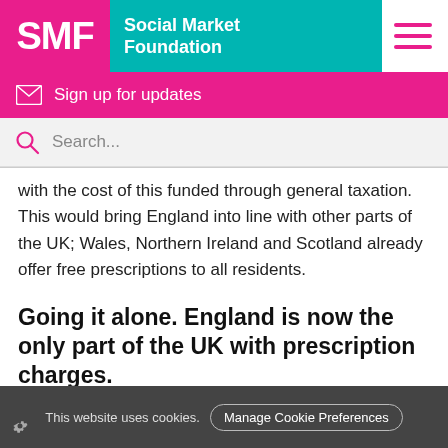SMF Social Market Foundation
Sign up for updates
Search...
with the cost of this funded through general taxation. This would bring England into line with other parts of the UK; Wales, Northern Ireland and Scotland already offer free prescriptions to all residents.
Going it alone. England is now the only part of the UK with prescription charges.
This website uses cookies. Manage Cookie Preferences